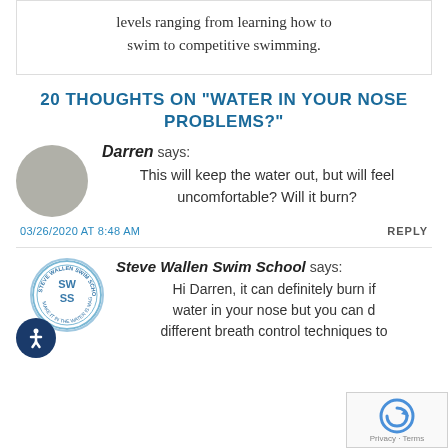levels ranging from learning how to swim to competitive swimming.
20 THOUGHTS ON “WATER IN YOUR NOSE PROBLEMS?”
Darren says: This will keep the water out, but will feel uncomfortable? Will it burn?
03/26/2020 AT 8:48 AM
REPLY
Steve Wallen Swim School says: Hi Darren, it can definitely burn if water in your nose but you can d different breath control techniques to